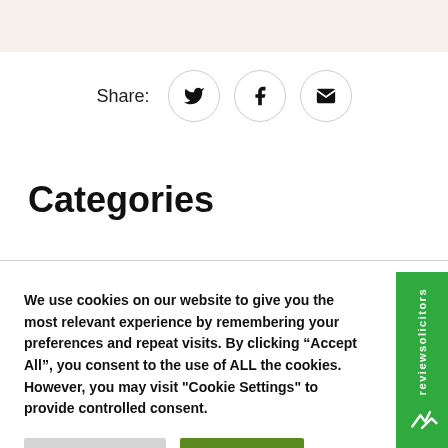[Figure (other): Share row with Twitter, Facebook, and Email icon buttons in circles]
Categories
We use cookies on our website to give you the most relevant experience by remembering your preferences and repeat visits. By clicking “Accept All”, you consent to the use of ALL the cookies. However, you may visit "Cookie Settings" to provide controlled consent.
[Figure (other): reviewsolicitors vertical green tab with logo on the right side]